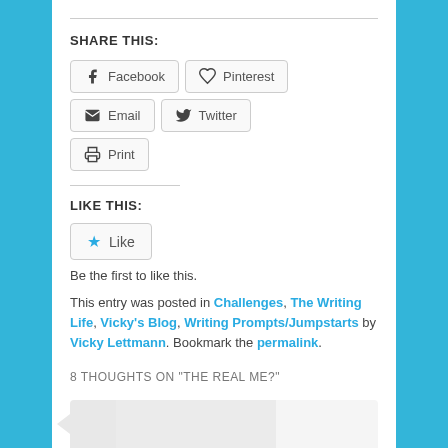SHARE THIS:
Facebook  Pinterest  Email  Twitter  Print
LIKE THIS:
Like
Be the first to like this.
This entry was posted in Challenges, The Writing Life, Vicky's Blog, Writing Prompts/Jumpstarts by Vicky Lettmann. Bookmark the permalink.
8 THOUGHTS ON “THE REAL ME?”